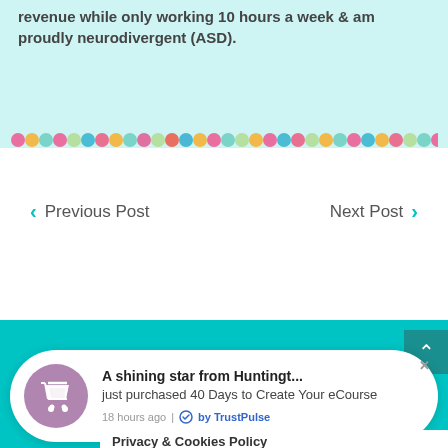revenue while only working 10 hours a week & am proudly neurodivergent (ASD).
[Figure (illustration): Colorful confetti dots border strip in pink, teal, gold, and other colors]
Previous Post
Next Post
[Figure (screenshot): TrustPulse popup notification card with shopping cart icon. Title: 'A shining star from Huntingt...' Subtitle: 'just purchased 40 Days to Create Your eCourse'. Footer: '18 hours ago | by TrustPulse']
Privacy & Cookies Policy